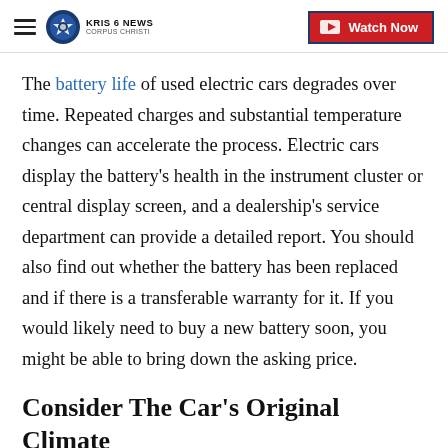KRIS 6 NEWS CORPUS CHRISTI | Watch Now
The battery life of used electric cars degrades over time. Repeated charges and substantial temperature changes can accelerate the process. Electric cars display the battery’s health in the instrument cluster or central display screen, and a dealership’s service department can provide a detailed report. You should also find out whether the battery has been replaced and if there is a transferable warranty for it. If you would likely need to buy a new battery soon, you might be able to bring down the asking price.
Consider The Car’s Original Climate
You may have looked for vehicles from warmer climates, but in inverse – a colder area –